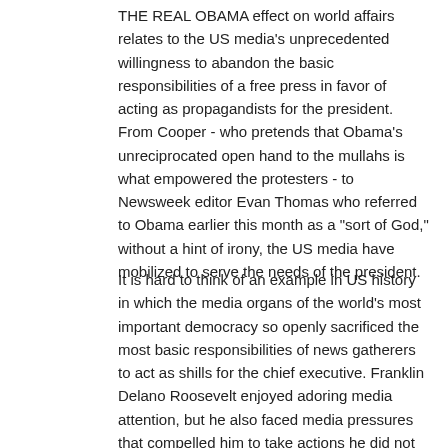THE REAL OBAMA effect on world affairs relates to the US media's unprecedented willingness to abandon the basic responsibilities of a free press in favor of acting as propagandists for the president. From Cooper - who pretends that Obama's unreciprocated open hand to the mullahs is what empowered the protesters - to Newsweek editor Evan Thomas who referred to Obama earlier this month as a "sort of God," without a hint of irony, the US media have mobilized to serve the needs of the president.
It is hard to think of an example in US history in which the media organs of the world's most important democracy so openly sacrificed the most basic responsibilities of news gatherers to act as shills for the chief executive. Franklin Delano Roosevelt enjoyed adoring media attention, but he also faced media pressures that compelled him to take actions he did not favor. The same was the case with John F. Kennedy.